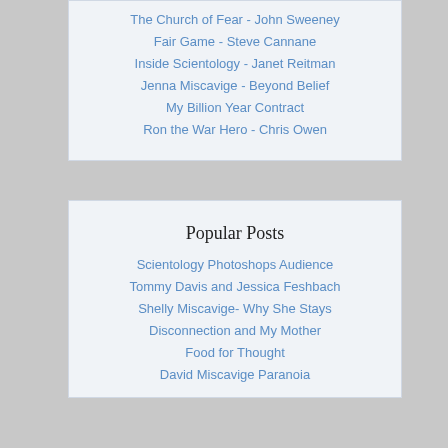The Church of Fear - John Sweeney
Fair Game - Steve Cannane
Inside Scientology - Janet Reitman
Jenna Miscavige - Beyond Belief
My Billion Year Contract
Ron the War Hero - Chris Owen
Popular Posts
Scientology Photoshops Audience
Tommy Davis and Jessica Feshbach
Shelly Miscavige- Why She Stays
Disconnection and My Mother
Food for Thought
David Miscavige Paranoia